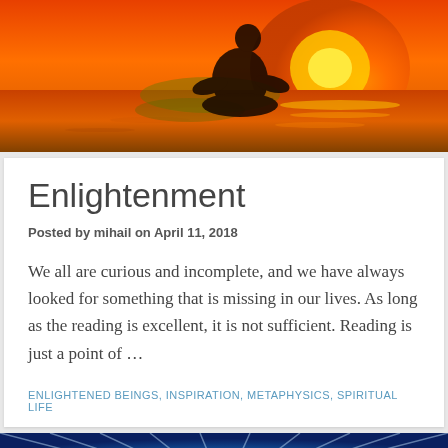[Figure (photo): Silhouette of a person meditating in lotus position against a vivid orange and yellow sunset over water]
Enlightenment
Posted by mihail on April 11, 2018
We all are curious and incomplete, and we have always looked for something that is missing in our lives. As long as the reading is excellent, it is not sufficient. Reading is just a point of …
ENLIGHTENED BEINGS, INSPIRATION, METAPHYSICS, SPIRITUAL LIFE
[Figure (photo): Blue light rays emanating from center, spiritual/cosmic background]